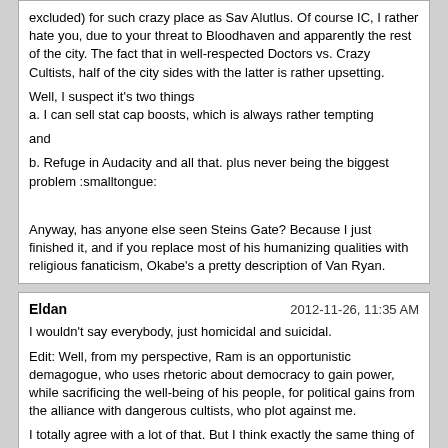excluded) for such crazy place as Sav Alutlus. Of course IC, I rather hate you, due to your threat to Bloodhaven and apparently the rest of the city. The fact that in well-respected Doctors vs. Crazy Cultists, half of the city sides with the latter is rather upsetting.

Well, I suspect it's two things
a. I can sell stat cap boosts, which is always rather tempting

and

b. Refuge in Audacity and all that. plus never being the biggest problem :smalltongue:

Anyway, has anyone else seen Steins Gate? Because I just finished it, and if you replace most of his humanizing qualities with religious fanaticism, Okabe's a pretty description of Van Ryan.
Eldan	2012-11-26, 11:35 AM
I wouldn't say everybody, just homicidal and suicidal.

Edit: Well, from my perspective, Ram is an opportunistic demagogue, who uses rhetoric about democracy to gain power, while sacrificing the well-being of his people, for political gains from the alliance with dangerous cultists, who plot against me.

I totally agree with a lot of that. But I think exactly the same thing of the King. So, for alliances, I have a choice between the Ram, who at least has a democratic ideology, the King, who so far has proven rather incompetent all around with his policy of promising whatever to everyone, the nobles who won't ever ally with me anyway or the crazy cultists. I've found a way to ally with two of them.
Rafinius	2012-11-26, 12:21 PM